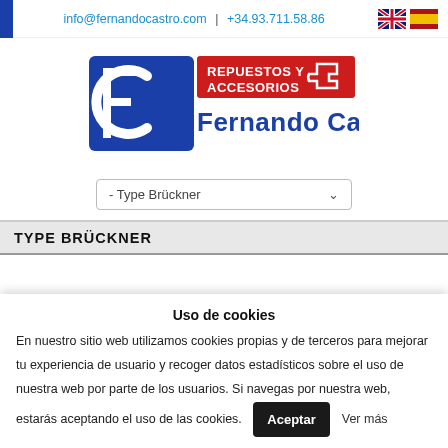info@fernandocastro.com | +34.93.711.58.86
[Figure (logo): Fernando Castro logo with red banner reading REPUESTOS Y ACCESORIOS and blue text Fernando Castro]
- Type Brückner
TYPE BRÜCKNER
Uso de cookies
En nuestro sitio web utilizamos cookies propias y de terceros para mejorar tu experiencia de usuario y recoger datos estadísticos sobre el uso de nuestra web por parte de los usuarios. Si navegas por nuestra web, estarás aceptando el uso de las cookies.
Aceptar   Ver más